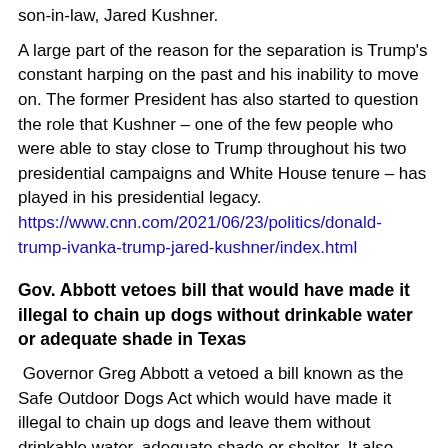son-in-law, Jared Kushner.
A large part of the reason for the separation is Trump's constant harping on the past and his inability to move on. The former President has also started to question the role that Kushner – one of the few people who were able to stay close to Trump throughout his two presidential campaigns and White House tenure – has played in his presidential legacy. https://www.cnn.com/2021/06/23/politics/donald-trump-ivanka-trump-jared-kushner/index.html
Gov. Abbott vetoes bill that would have made it illegal to chain up dogs without drinkable water or adequate shade in Texas
Governor Greg Abbott a vetoed a bill known as the Safe Outdoor Dogs Act which would have made it illegal to chain up dogs and leave them without drinkable water, adequate shade or shelter. It also called for a ban on tethering dogs with heavy chains.
The hashtag #AbbottHatesDogs is now trending on Twitter.